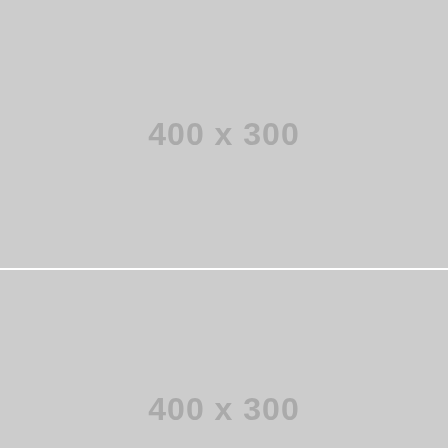[Figure (other): Gray placeholder image block showing dimensions 400 x 300]
[Figure (other): Gray placeholder image block showing dimensions 400 x 300 (partially visible, cropped at bottom)]